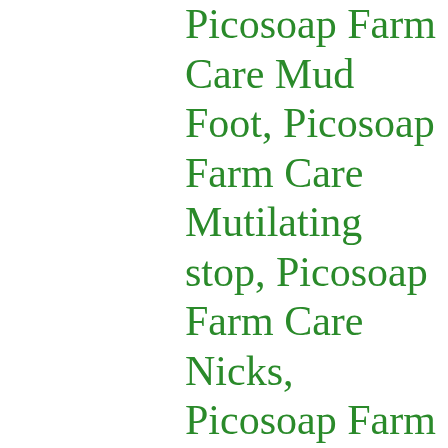Picosoap Farm Care Mud Foot, Picosoap Farm Care Mutilating stop, Picosoap Farm Care Nicks, Picosoap Farm Care Pails, Picosoap Farm Care Parasites v, Picosoap